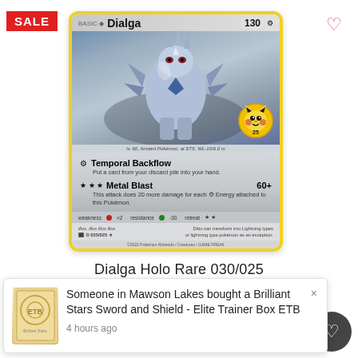[Figure (illustration): Pokemon trading card for Dialga - Holo Rare 030/025. Card shows Dialga (steel/dragon type legendary Pokemon) with 130 HP. Moves: Temporal Backflow (put a card from your discard pile into your hand) and Metal Blast 60+ (does 20 more damage for each Metal Energy attached to this Pokemon). Has weakness x2 fire, resistance -30 grass, retreat cost 2 stars. Yellow border card with Pikachu 25th anniversary badge.]
SALE
Dialga Holo Rare 030/025
Someone in Mawson Lakes bought a Brilliant Stars Sword and Shield - Elite Trainer Box ETB
4 hours ago
ADD TO CART